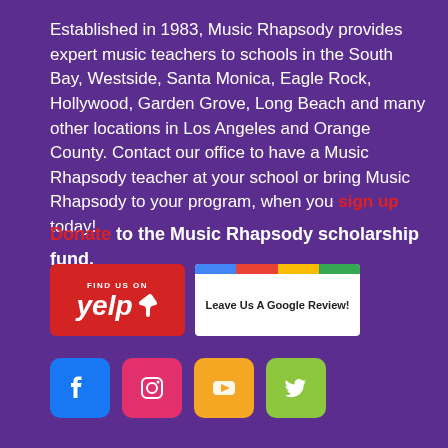Established in 1983, Music Rhapsody provides expert music teachers to schools in the South Bay, Westside, Santa Monica, Eagle Rock, Hollywood, Garden Grove, Long Beach and many other locations in Los Angeles and Orange County. Contact our office to have a Music Rhapsody teacher at your school or bring Music Rhapsody to your program, when you sign up today!
Donate to the Music Rhapsody scholarship fund.
[Figure (logo): Yelp 'Find Us On' badge with red background and white Yelp logo]
[Figure (logo): Google Review badge with colorful top bar and 'Leave Us A Google Review!' text]
[Figure (logo): Social media icons row: Facebook (blue), Instagram (red/pink), YouTube (orange/gold), Twitter (green)]